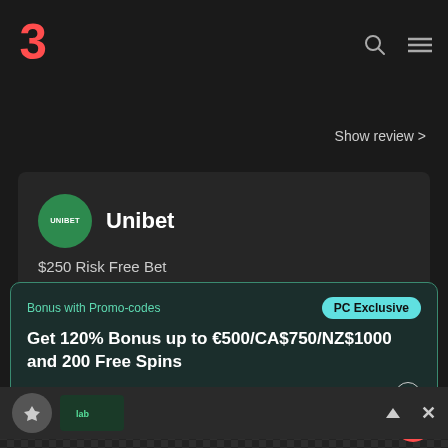[Figure (logo): Stylized red/coral number 3 or angular logo mark]
Show review >
Unibet
$250 Risk Free Bet
Show review >
[Figure (screenshot): Bottom toolbar with casino and betting site thumbnails, up arrow and X close button]
Bonus with Promo-codes
PC Exclusive
Get 120% Bonus up to €500/CA$750/NZ$1000 and 200 Free Spins
PCVIP